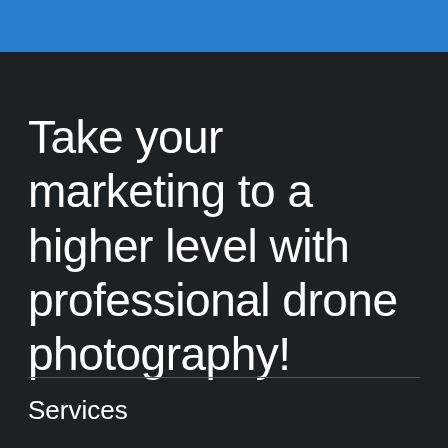Take your marketing to a higher level with professional drone photography!
Services